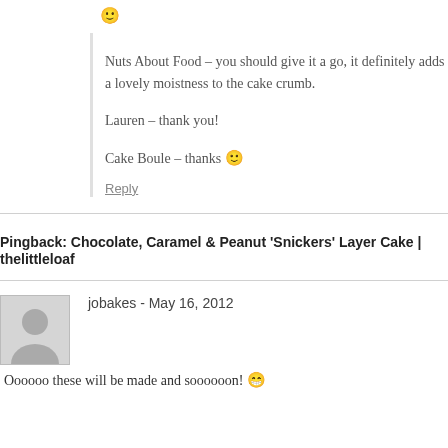😊
Nuts About Food – you should give it a go, it definitely adds a lovely moistness to the cake crumb.
Lauren – thank you!
Cake Boule – thanks 🙂
Reply
Pingback: Chocolate, Caramel & Peanut 'Snickers' Layer Cake | thelittleloaf
jobakes - May 16, 2012
Oooooo these will be made and soooooon! 😁